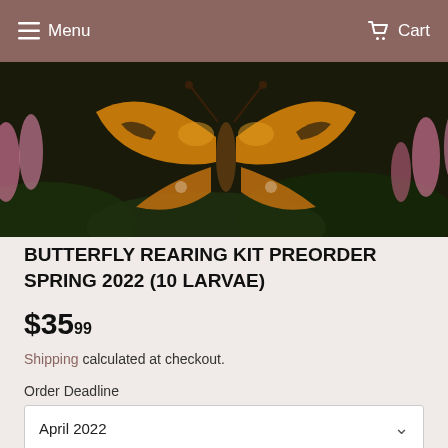Menu  Cart
[Figure (photo): Painted lady butterfly on pink flowers against dark background]
BUTTERFLY REARING KIT PREORDER SPRING 2022 (10 LARVAE)
$35.99
Shipping calculated at checkout.
Order Deadline
April 2022
ADD TO CART